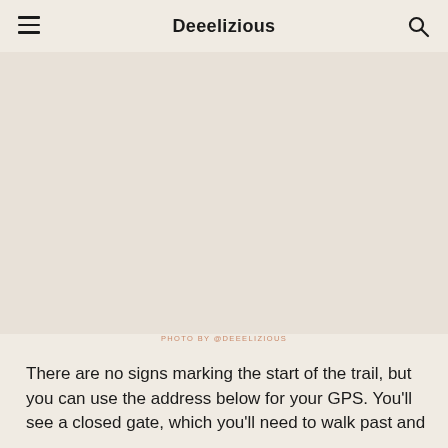Deeelizious
[Figure (photo): Large photo area showing a trail or outdoor scene, placeholder image area]
PHOTO BY @DEEELIZIOUS
There are no signs marking the start of the trail, but you can use the address below for your GPS. You'll see a closed gate, which you'll need to walk past and